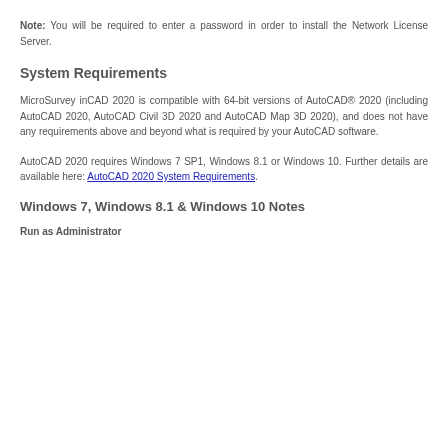Note: You will be required to enter a password in order to install the Network License Server.
System Requirements
MicroSurvey inCAD 2020 is compatible with 64-bit versions of AutoCAD® 2020 (including AutoCAD 2020, AutoCAD Civil 3D 2020 and AutoCAD Map 3D 2020), and does not have any requirements above and beyond what is required by your AutoCAD software.
AutoCAD 2020 requires Windows 7 SP1, Windows 8.1 or Windows 10. Further details are available here: AutoCAD 2020 System Requirements.
Windows 7, Windows 8.1 & Windows 10 Notes
Run as Administrator